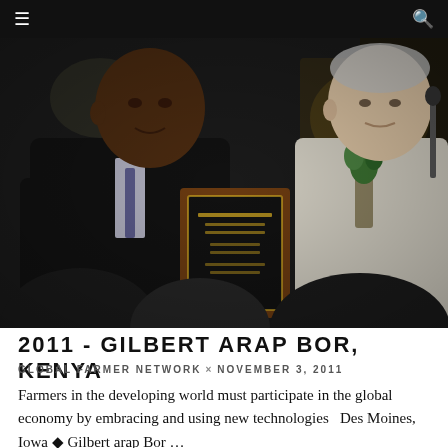≡   🔍
[Figure (photo): Two men at a podium, one presenting the other with a wooden plaque/award. The recipient on the right is an older man in a light jacket holding a small plant. The presenter on the left is a younger man in a dark suit. Audience members are visible in the foreground.]
2011 - GILBERT ARAP BOR, KENYA
GLOBAL FARMER NETWORK  ×  NOVEMBER 3, 2011
Farmers in the developing world must participate in the global economy by embracing and using new technologies   Des Moines, Iowa ◆ Gilbert arap Bor …